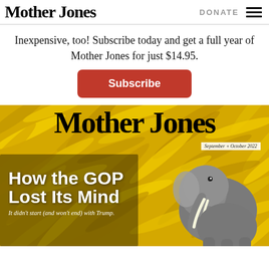Mother Jones | DONATE
Inexpensive, too! Subscribe today and get a full year of Mother Jones for just $14.95.
[Figure (illustration): Red rounded rectangle Subscribe button]
[Figure (photo): Mother Jones magazine cover, September + October 2022, showing 'How the GOP Lost Its Mind' headline with elephant on banana background. Subtext: It didn't start (and won't end) with Trump.]